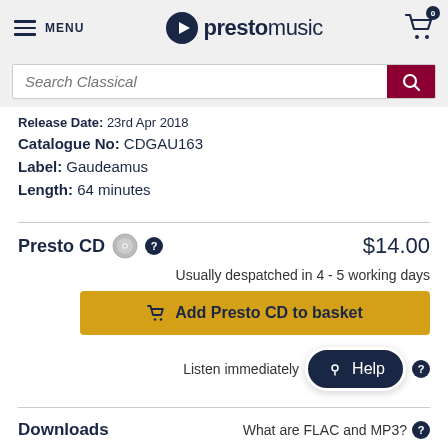MENU | prestomusic | Cart 0
Search Classical
Release Date: 23rd Apr 2018
Catalogue No: CDGAU163
Label: Gaudeamus
Length: 64 minutes
Presto CD  $14.00
Usually despatched in 4 - 5 working days
Add Presto CD to basket
Listen immediately
Downloads
What are FLAC and MP3?